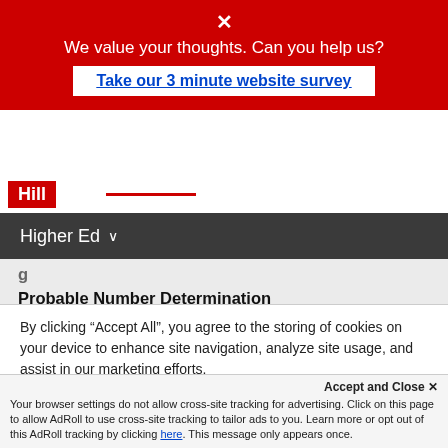[Figure (screenshot): Red survey banner with close X, survey question text, and white survey link button]
Hill | Higher Ed
Probable Number Determination
45 Bacteriological Examination of Water: The Membrane Filter Method
46 Reductase Test
47 Temperature: Lethal Effects
48 Microbial Spoilage of Canned Food
By clicking “Accept All”, you agree to the storing of cookies on your device to enhance site navigation, analyze site usage, and assist in our marketing efforts.
Accept and Close ×
Your browser settings do not allow cross-site tracking for advertising. Click on this page to allow AdRoll to use cross-site tracking to tailor ads to you. Learn more or opt out of this AdRoll tracking by clicking here. This message only appears once.